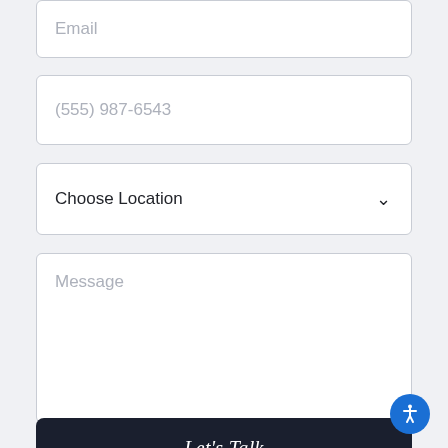Email
(555) 987-6543
Choose Location
Message
Let's Talk